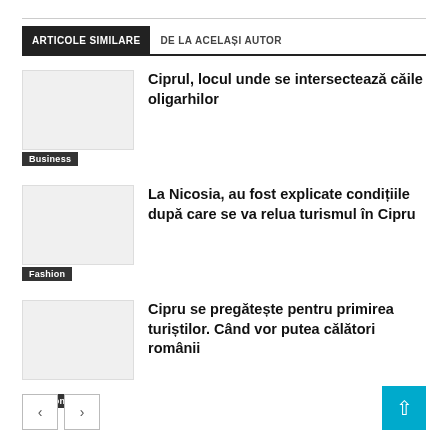ARTICOLE SIMILARE | DE LA ACELAȘI AUTOR
Ciprul, locul unde se intersectează căile oligarhilor
Business
La Nicosia, au fost explicate condițiile după care se va relua turismul în Cipru
Fashion
Cipru se pregătește pentru primirea turiștilor. Când vor putea călători românii
Fashion